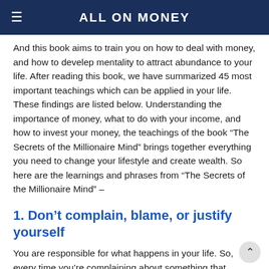ALL ON MONEY
And this book aims to train you on how to deal with money, and how to develep mentality to attract abundance to your life. After reading this book, we have summarized 45 most important teachings which can be applied in your life. These findings are listed below. Understanding the importance of money, what to do with your income, and how to invest your money, the teachings of the book “The Secrets of the Millionaire Mind” brings together everything you need to change your lifestyle and create wealth. So here are the learnings and phrases from “The Secrets of the Millionaire Mind” –
1. Don’t complain, blame, or justify yourself
You are responsible for what happens in your life. So, every time you’re complaining about something that happened, blaming someone for your reality, or justifying the life you leading, realize that you’re accepting that you’re capable of